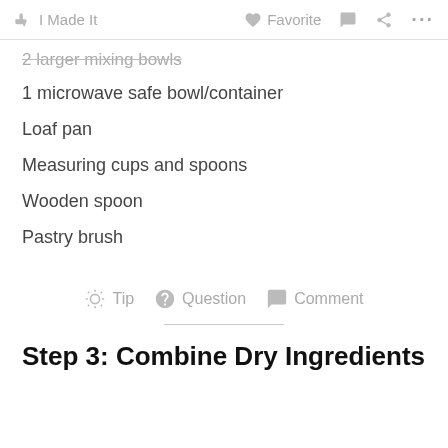I Made It   Favorite   Comment   Share   ...
2 larger mixing bowls
1 microwave safe bowl/container
Loaf pan
Measuring cups and spoons
Wooden spoon
Pastry brush
Tip   Question   Comment
Step 3: Combine Dry Ingredients